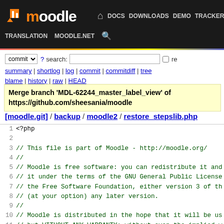[Figure (screenshot): Moodle navigation bar with logo, links: DOCS, DOWNLOADS, DEMO, TRACKER, DEV (highlighted in blue), TRANSLATION, MOODLE.NET, and search icon]
commit ▼ ? search: [ ] re
summary | shortlog | log | commit | commitdiff | tree blame | history | raw | HEAD
Merge branch 'MDL-62244_master_label_view' of https://github.com/sheesania/moodle
[moodle.git] / backup / moodle2 / restore_stepslib.php
1  <?php
2
3  // This file is part of Moodle - http://moodle.org/
4  //
5  // Moodle is free software: you can redistribute it and
6  // it under the terms of the GNU General Public License
7  // the Free Software Foundation, either version 3 of th
8  // (at your option) any later version.
9  //
10 // Moodle is distributed in the hope that it will be us
11 // but WITHOUT ANY WARRANTY; without even the implied w
12 // MERCHANTABILITY or FITNESS FOR A PARTICULAR PURPOSE.
13 // GNU General Public License for more details.
14 //
15 // You should have received a copy of the GNU General P
16 // along with Moodle.  If not, see <http://www.gnu.org/
17